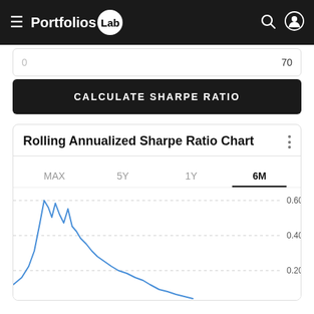PortfoliosLab
70
CALCULATE SHARPE RATIO
Rolling Annualized Sharpe Ratio Chart
MAX  5Y  1Y  6M
[Figure (continuous-plot): Rolling Annualized Sharpe Ratio line chart showing 6M period. Blue line starts near 0.60 peak then drops with peaks around 0.55, then declines toward 0.20 and below, trending downward. Y-axis shows values 0.60, 0.40, 0.20. Time period is 6 months.]